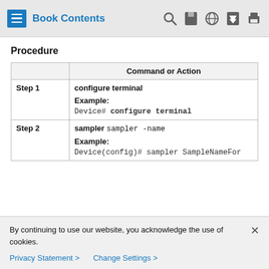Book Contents
Procedure
|  | Command or Action |
| --- | --- |
| Step 1 | configure terminal
Example:
Device# configure terminal |
| Step 2 | sampler sampler -name
Example:
Device(config)# sampler SampleNameFor |
By continuing to use our website, you acknowledge the use of cookies.
Privacy Statement > Change Settings >